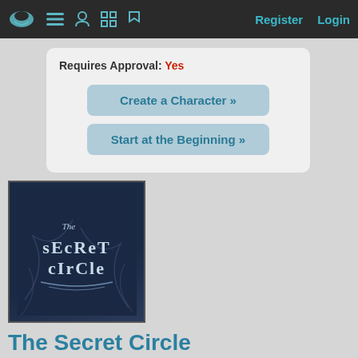Register  Login
Requires Approval: Yes
Create a Character »
Start at the Beginning »
[Figure (illustration): The Secret Circle book/show cover image with stylized text on dark blue background]
The Secret Circle
0 INK
Kandide was suppose to be crowed Queen of Calabiyau...but a terrible accident happened.
673 readers have visited The Secret Circle since XxChristinaxX created it.